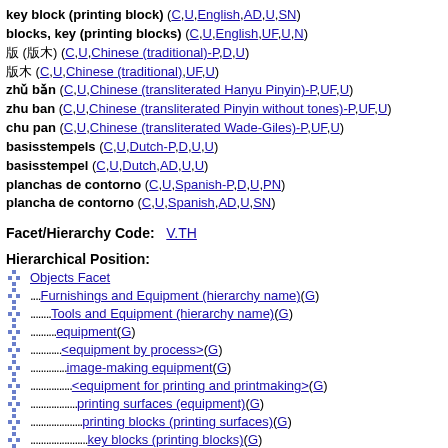key block (printing block) (C,U,English,AD,U,SN)
blocks, key (printing blocks) (C,U,English,UF,U,N)
版 (版木) (C,U,Chinese (traditional)-P,D,U)
版木 (C,U,Chinese (traditional),UF,U)
zhǔ bǎn (C,U,Chinese (transliterated Hanyu Pinyin)-P,UF,U)
zhu ban (C,U,Chinese (transliterated Pinyin without tones)-P,UF,U)
chu pan (C,U,Chinese (transliterated Wade-Giles)-P,UF,U)
basisstempels (C,U,Dutch-P,D,U,U)
basisstempel (C,U,Dutch,AD,U,U)
planchas de contorno (C,U,Spanish-P,D,U,PN)
plancha de contorno (C,U,Spanish,AD,U,SN)
Facet/Hierarchy Code:  V.TH
Hierarchical Position:
Objects Facet
.... Furnishings and Equipment (hierarchy name) (G)
........ Tools and Equipment (hierarchy name) (G)
.......... equipment (G)
............ <equipment by process> (G)
.............. image-making equipment (G)
................ <equipment for printing and printmaking> (G)
.................. printing surfaces (equipment) (G)
.................... printing blocks (printing surfaces) (G)
...................... key blocks (printing blocks) (G)